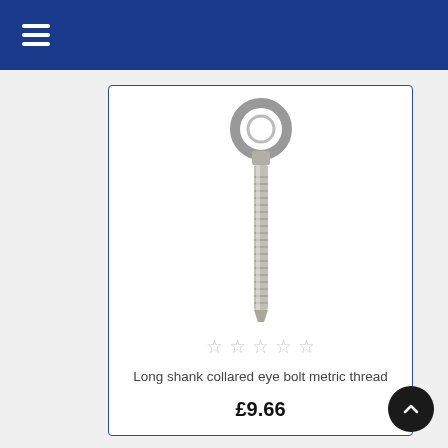Navigation menu header
[Figure (photo): A long shank collared eye bolt with metric thread. The bolt has a circular eye ring at the top and a long threaded shank extending downward. Stainless steel finish.]
☆ ☆ ☆ ☆ ☆
Long shank collared eye bolt metric thread
£9.66